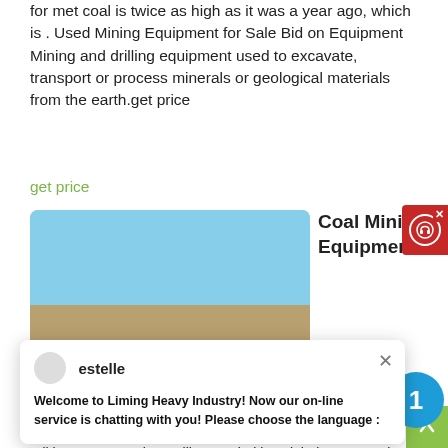for met coal is twice as high as it was a year ago, which is . Used Mining Equipment for Sale Bid on Equipment Mining and drilling equipment used to excavate, transport or process minerals or geological materials from the earth.get price
get price
[Figure (photo): Two stacked photos: top shows a building structure with metal fencing against a blue sky; bottom shows an outdoor mining/excavation site with dirt and equipment. Date stamp 18/08/2012 visible.]
Coal Mining Equipment In
[Figure (screenshot): Red support chat button with headset icon and X close button in top right corner]
[Figure (screenshot): Live chat popup from Liming Heavy Industry with avatar labeled 'estelle' and message: Welcome to Liming Heavy Industry! Now our on-line service is chatting with you! Please choose the language :]
Coal Mining Equipment In Kingston Us.
underground mining equipment and surplus parts for sale o... equipmentmine you have changed your edition to global edition aware sections will now prioritize global content. Chat Online. Hot Products. New. Spring Cone Crusher Add to cart. New. Hydraulic Cone Crusher Add to cart. New. Symons Cone Crusher Add to cart. New. MBS Type Rod Mill Add to cart